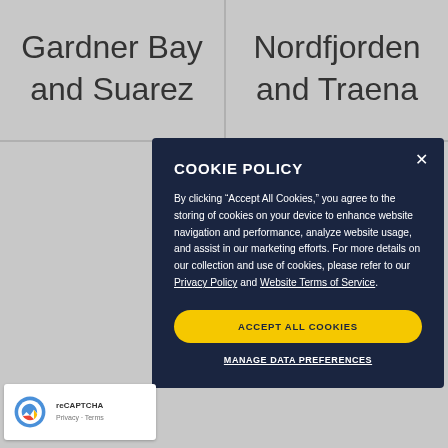Gardner Bay and Suarez
Nordfjorden and Traena
COOKIE POLICY
By clicking "Accept All Cookies," you agree to the storing of cookies on your device to enhance website navigation and performance, analyze website usage, and assist in our marketing efforts. For more details on our collection and use of cookies, please refer to our Privacy Policy and Website Terms of Service.
ACCEPT ALL COOKIES
MANAGE DATA PREFERENCES
[Figure (logo): Google reCAPTCHA logo with Privacy and Terms links]